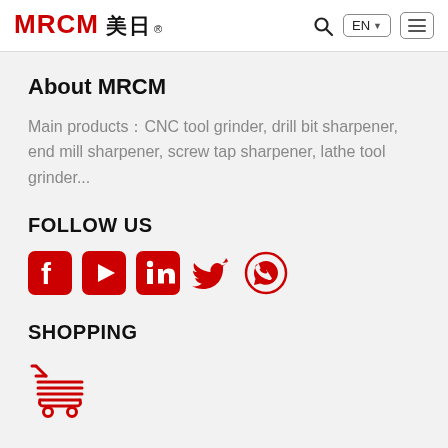MRCM 美日® | EN | search | menu
About MRCM
Main products：CNC tool grinder, drill bit sharpener, end mill sharpener, screw tap sharpener, lathe tool grinder...
FOLLOW US
[Figure (infographic): Row of red social media icons: Facebook, YouTube, LinkedIn, Twitter, WhatsApp]
SHOPPING
[Figure (infographic): Red shopping cart icon]